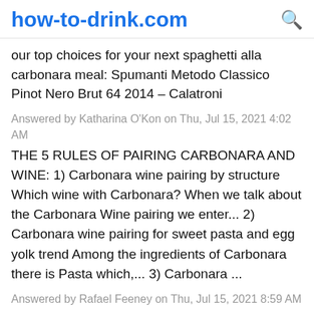how-to-drink.com
our top choices for your next spaghetti alla carbonara meal: Spumanti Metodo Classico Pinot Nero Brut 64 2014 – Calatroni
Answered by Katharina O'Kon on Thu, Jul 15, 2021 4:02 AM
THE 5 RULES OF PAIRING CARBONARA AND WINE: 1) Carbonara wine pairing by structure Which wine with Carbonara? When we talk about the Carbonara Wine pairing we enter... 2) Carbonara wine pairing for sweet pasta and egg yolk trend Among the ingredients of Carbonara there is Pasta which,... 3) Carbonara ...
Answered by Rafael Feeney on Thu, Jul 15, 2021 8:59 AM